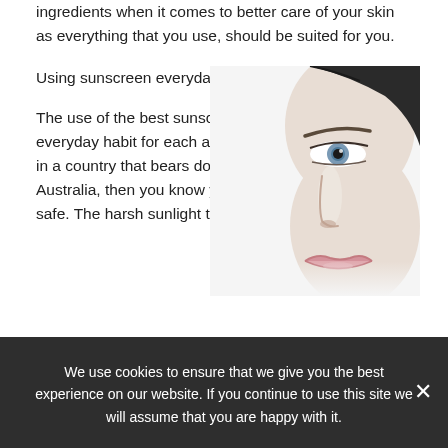ingredients when it comes to better care of your skin as everything that you use, should be suited for you.
Using sunscreen everyday
[Figure (photo): Close-up photo of half a woman's face against a white/light background, showing one eye, nose, and lips on the right side of the image.]
The use of the best sunscreen should become an everyday habit for each and every one of us. If you live in a country that bears down harsh sunlight, like Australia, then you know you must keep your skin safe. The harsh sunlight that we
We use cookies to ensure that we give you the best experience on our website. If you continue to use this site we will assume that you are happy with it.